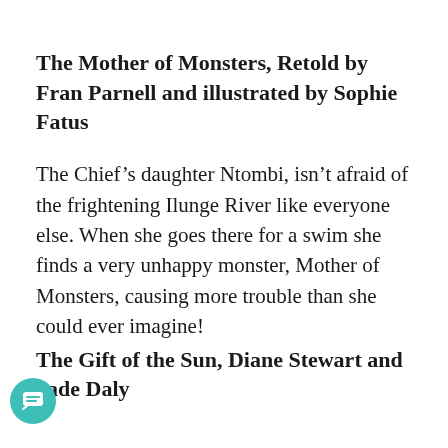The Mother of Monsters, Retold by Fran Parnell and illustrated by Sophie Fatus
The Chief's daughter Ntombi, isn't afraid of the frightening Ilunge River like everyone else. When she goes there for a swim she finds a very unhappy monster, Mother of Monsters, causing more trouble than she could ever imagine!
The Gift of the Sun, Diane Stewart and Jade Daly